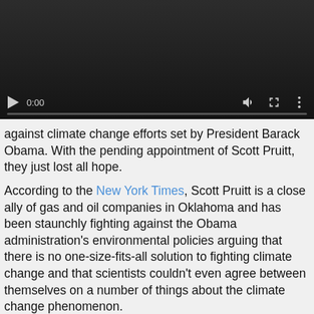[Figure (screenshot): Video player with dark background, play button, 0:00 time display, volume icon, fullscreen icon, and more options icon, with a progress bar at the bottom]
against climate change efforts set by President Barack Obama. With the pending appointment of Scott Pruitt, they just lost all hope.
According to the New York Times, Scott Pruitt is a close ally of gas and oil companies in Oklahoma and has been staunchly fighting against the Obama administration's environmental policies arguing that there is no one-size-fits-all solution to fighting climate change and that scientists couldn't even agree between themselves on a number of things about the climate change phenomenon.